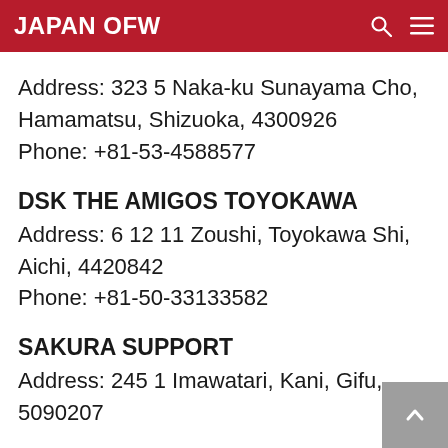JAPAN OFW
Address: 323 5 Naka-ku Sunayama Cho, Hamamatsu, Shizuoka, 4300926
Phone: +81-53-4588577
DSK THE AMIGOS TOYOKAWA
Address: 6 12 11 Zoushi, Toyokawa Shi, Aichi, 4420842
Phone: +81-50-33133582
SAKURA SUPPORT
Address: 245 1 Imawatari, Kani, Gifu, 5090207